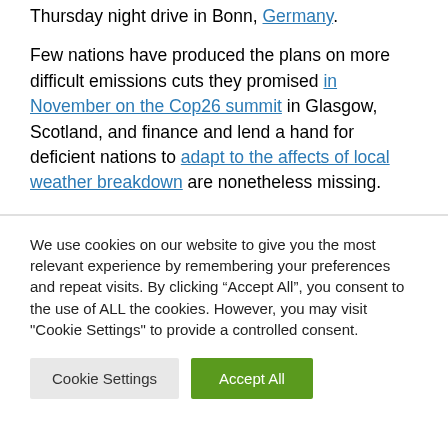Thursday night drive in Bonn, Germany. Few nations have produced the plans on more difficult emissions cuts they promised in November on the Cop26 summit in Glasgow, Scotland, and finance and lend a hand for deficient nations to adapt to the affects of local weather breakdown are nonetheless missing.
We use cookies on our website to give you the most relevant experience by remembering your preferences and repeat visits. By clicking “Accept All”, you consent to the use of ALL the cookies. However, you may visit "Cookie Settings" to provide a controlled consent.